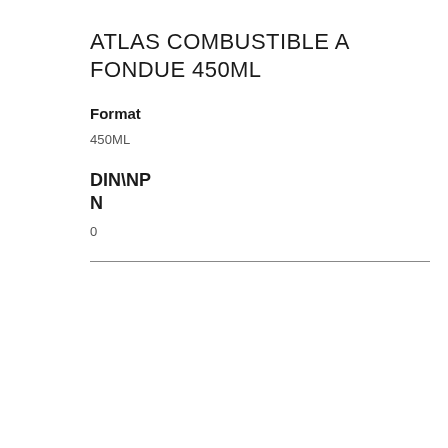ATLAS COMBUSTIBLE A FONDUE 450ML
Format
450ML
DIN\NP
N
0